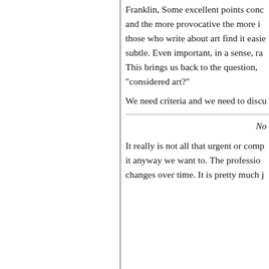Franklin, Some excellent points conc and the more provocative the more i those who write about art find it easie subtle. Even important, in a sense, ra This brings us back to the question, considered art?"
We need criteria and we need to disc
No
It really is not all that urgent or comp it anyway we want to. The professio changes over time. It is pretty much j